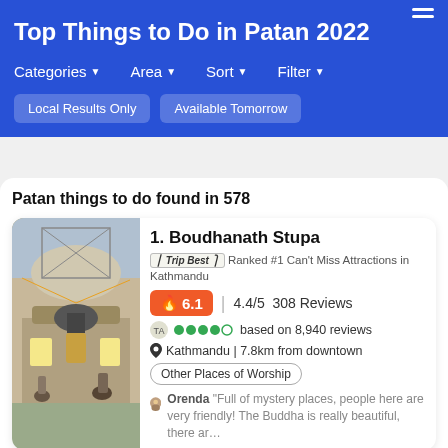Top Things to Do in Patan 2022
Categories ▼
Area ▼
Sort ▼
Filter ▼
Local Results Only
Available Tomorrow
Patan things to do found in 578
1. Boudhanath Stupa
Trip Best Ranked #1 Can't Miss Attractions in Kathmandu
🔥6.1 | 4.4/5 308 Reviews
based on 8,940 reviews
Kathmandu | 7.8km from downtown
Other Places of Worship
Orenda "Full of mystery places, people here are very friendly! The Buddha is really beautiful, there ar...
2. Kathmandu Durbar Square
Trip Best Ranked #1 Amazing Nighttime Views in